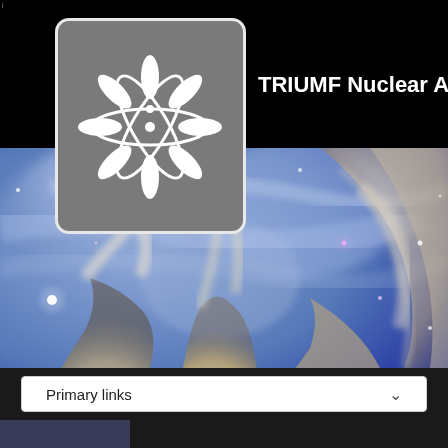[Figure (logo): TRIUMF nuclear/atomic logo - white snowflake-like atomic symbol on gray rounded rectangle background]
TRIUMF Nuclear Astro
[Figure (photo): Hubble space telescope nebula image showing blue-purple star-forming pillars of gas and dust against a blue nebula background with bright stars]
Primary links
[Figure (photo): Partial bottom strip showing dark image]